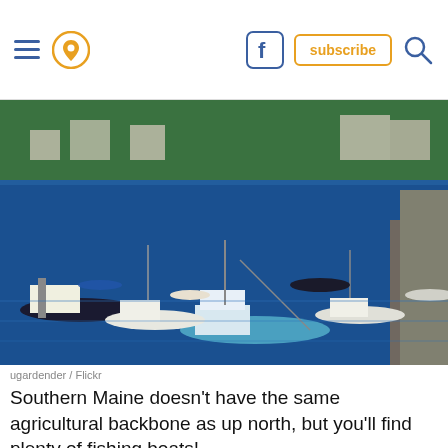Navigation header with hamburger menu, location pin icon, Facebook icon, subscribe button, and search icon
[Figure (photo): Harbor scene with many fishing and sailing boats moored in blue water, tree-covered hillside with houses in the background, dock structure on right side]
ugardender / Flickr
Southern Maine doesn't have the same agricultural backbone as up north, but you'll find plenty of fishing boats!
9. Snowfall amounts.
[Figure (photo): Snowy winter scene, partially obscured by an advertisement overlay bar with a close X button]